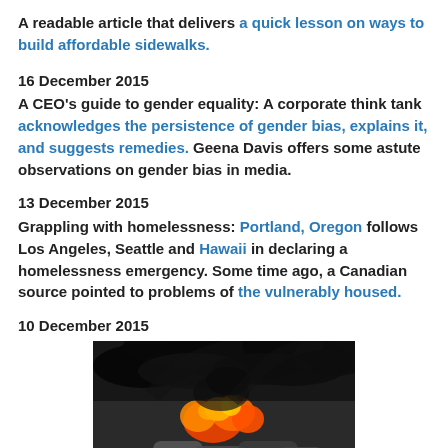A readable article that delivers a quick lesson on ways to build affordable sidewalks.
16 December 2015
A CEO's guide to gender equality: A corporate think tank acknowledges the persistence of gender bias, explains it, and suggests remedies. Geena Davis offers some astute observations on gender bias in media.
13 December 2015
Grappling with homelessness: Portland, Oregon follows Los Angeles, Seattle and Hawaii in declaring a homelessness emergency. Some time ago, a Canadian source pointed to problems of the vulnerably housed.
10 December 2015
[Figure (photo): Aerial view of a large fire with black smoke rising from what appears to be a train derailment or industrial accident, showing overturned tanker cars and flames.]